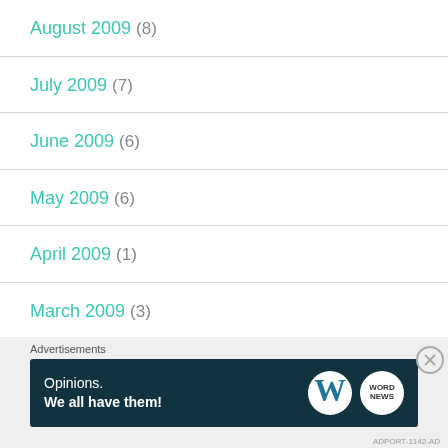August 2009 (8)
July 2009 (7)
June 2009 (6)
May 2009 (6)
April 2009 (1)
March 2009 (3)
February 2009 (2)
[Figure (infographic): Advertisement banner with dark teal background showing 'Opinions. We all have them!' with WordPress logo and another circular logo]
Advertisements
ADPORT-1142-AD